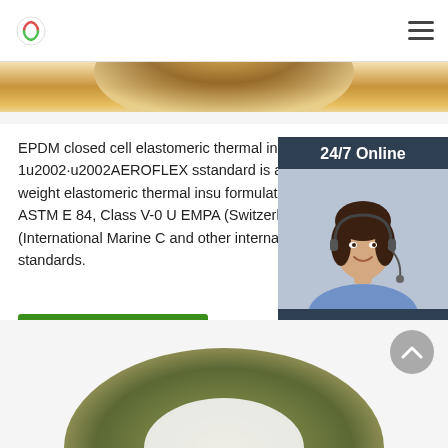Logo and navigation menu
[Figure (photo): Top portion of an elastomeric insulation product, brownish/golden tones, partial view from above]
EPDM closed cell elastomeric thermal insulation 2016-6-1u2002·u2002AEROFLEX sstandard is an closed cell light weight elastomeric thermal insulation formulated to meet 25/50 ASTM E 84, Class V-0 u EMPA (Switzerland), IMO (International Marine C and other international fire standards.
[Figure (photo): Customer service representative woman wearing headset, smiling, blue shirt, with 24/7 Online header and chat/quotation sidebar]
Get Price
[Figure (photo): Bottom partial view of a ring or washer-shaped elastomeric insulation product with metallic/olive coloring]